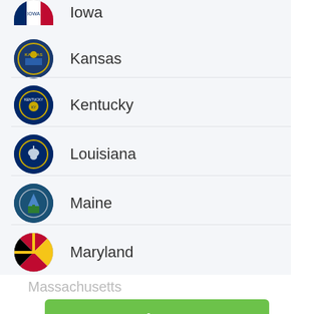Iowa
Kansas
Kentucky
Louisiana
Maine
Maryland
Massachusetts
Apply Now
Michigan
Applying does NOT affect your credit score! No credit check to apply.
Minnesota